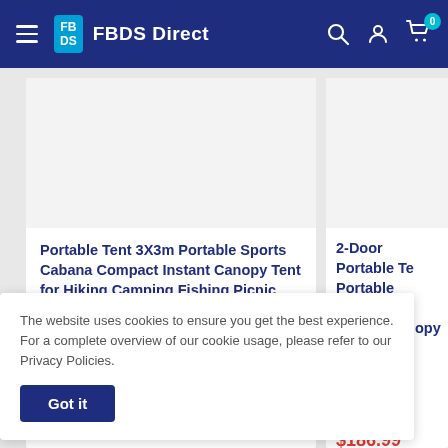FBDS Direct
Portable Tent 3X3m Portable Sports Cabana Compact Instant Canopy Tent for Hiking Camping Fishing Picnic Family Outings
$94.99  $418.41
In stock, 568 units
2-Door Portable Te... Portable Sports Cab... Instant Canopy Ten... Camping Fishing Pic... Outings
$186.99  $864.87
nits
The website uses cookies to ensure you get the best experience. For a complete overview of our cookie usage, please refer to our Privacy Policies.
Got it